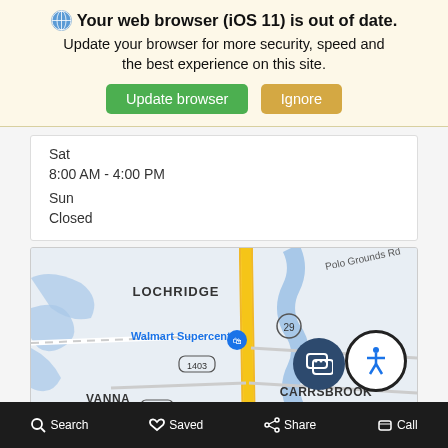🌐 Your web browser (iOS 11) is out of date. Update your browser for more security, speed and the best experience on this site. [Update browser] [Ignore]
Sat
8:00 AM - 4:00 PM
Sun
Closed
[Figure (map): Google Maps screenshot showing LOCHRIDGE area with Walmart Supercenter, Lowe's Home Improvement, Goodwill Store, VANNA, CARRSBROOK neighborhoods, and road numbers 29, 1403, 659. Polo Grounds Rd visible top right.]
Search   Saved   Share   Call